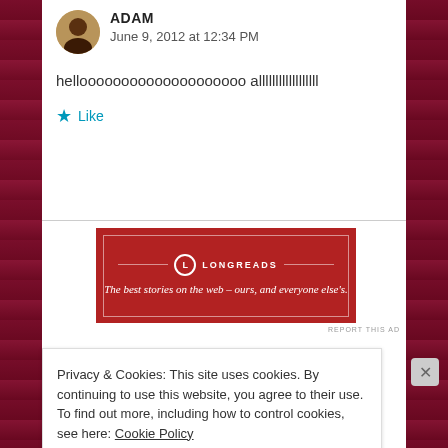ADAM
June 9, 2012 at 12:34 PM
helloooooooooooooooooooo allllllllllllllllll
★ Like
[Figure (infographic): Longreads advertisement banner: red background with logo and tagline 'The best stories on the web – ours, and everyone else's.']
REPORT THIS AD
Privacy & Cookies: This site uses cookies. By continuing to use this website, you agree to their use. To find out more, including how to control cookies, see here: Cookie Policy
Close and accept